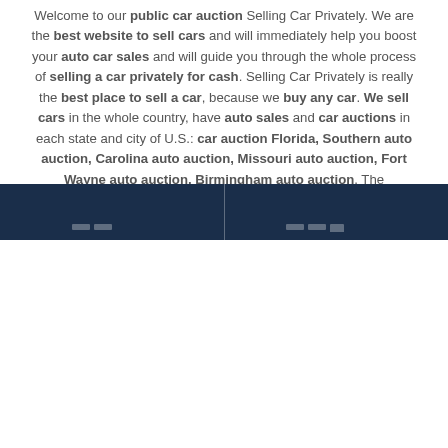Welcome to our public car auction Selling Car Privately. We are the best website to sell cars and will immediately help you boost your auto car sales and will guide you through the whole process of selling a car privately for cash. Selling Car Privately is really the best place to sell a car, because we buy any car. We sell cars in the whole country, have auto sales and car auctions in each state and city of U.S.: car auction Florida, Southern auto auction, Carolina auto auction, Missouri auto auction, Fort Wayne auto auction, Birmingham auto auction. The processes of selling a car and buying a used car have never been so amazingly cool, as they are with Selling Car Privately.
[Figure (other): Dark navy blue footer bar with a vertical divider line and small icon elements at the bottom]